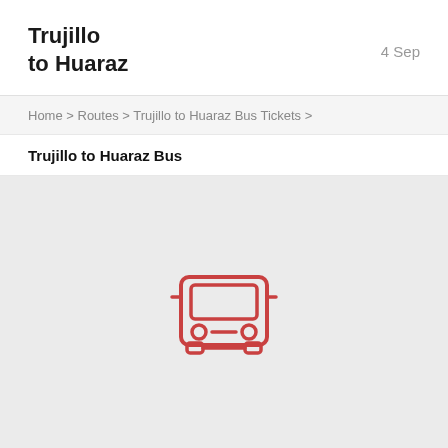Trujillo to Huaraz
4 Sep
Home > Routes > Trujillo to Huaraz Bus Tickets >
Trujillo to Huaraz Bus
[Figure (illustration): Bus front-view icon in red/coral outline style on light gray background]